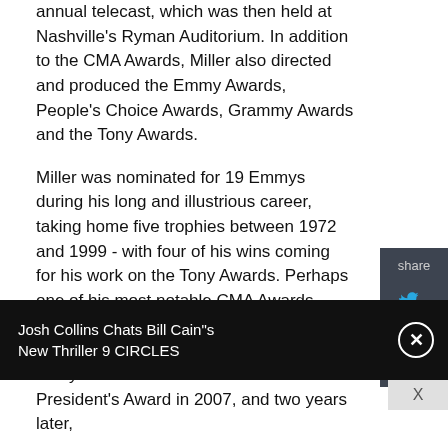annual telecast, which was then held at Nashville's Ryman Auditorium. In addition to the CMA Awards, Miller also directed and produced the Emmy Awards, People's Choice Awards, Grammy Awards and the Tony Awards.
Miller was nominated for 19 Emmys during his long and illustrious career, taking home five trophies between 1972 and 1999 - with four of his wins coming for his work on the Tony Awards. Perhaps one of his most notable CMA Awards came in 2005, when the event moved to New York's Madison Square Garden for one year. Miller was awarded the CMA President's Award in 2007, and two years later,
[Figure (other): Share panel with Twitter and Facebook icons on dark background]
Josh Collins Chats Bill Cain"s New Thriller 9 CIRCLES